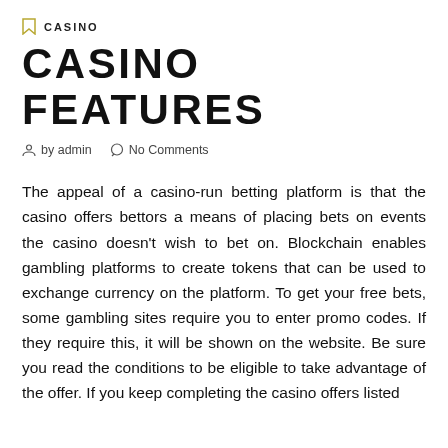CASINO
CASINO FEATURES
by admin   No Comments
The appeal of a casino-run betting platform is that the casino offers bettors a means of placing bets on events the casino doesn't wish to bet on. Blockchain enables gambling platforms to create tokens that can be used to exchange currency on the platform. To get your free bets, some gambling sites require you to enter promo codes. If they require this, it will be shown on the website. Be sure you read the conditions to be eligible to take advantage of the offer. If you keep completing the casino offers listed